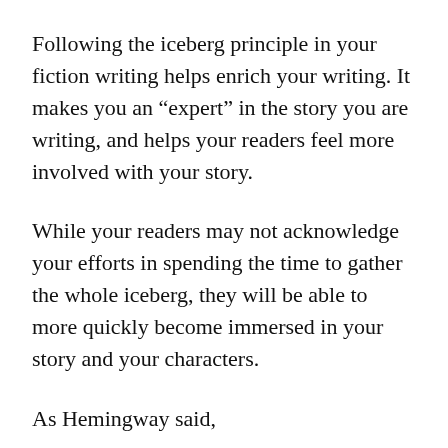Following the iceberg principle in your fiction writing helps enrich your writing. It makes you an “expert” in the story you are writing, and helps your readers feel more involved with your story.
While your readers may not acknowledge your efforts in spending the time to gather the whole iceberg, they will be able to more quickly become immersed in your story and your characters.
As Hemingway said,